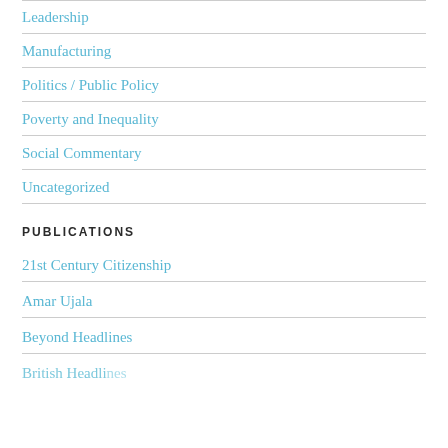Leadership
Manufacturing
Politics / Public Policy
Poverty and Inequality
Social Commentary
Uncategorized
PUBLICATIONS
21st Century Citizenship
Amar Ujala
Beyond Headlines
British Headlines